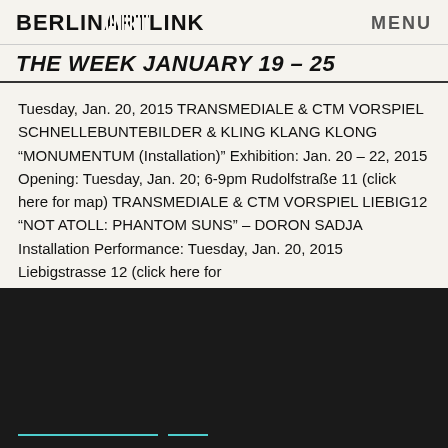BERLINARTLINK | MENU
THE WEEK January 19 – 25
Tuesday, Jan. 20, 2015 TRANSMEDIALE & CTM VORSPIEL SCHNELLEBUNTEBILDER & KLING KLANG KLONG "MONUMENTUM (Installation)" Exhibition: Jan. 20 – 22, 2015 Opening: Tuesday, Jan. 20; 6-9pm Rudolfstraße 11 (click here for map) TRANSMEDIALE & CTM VORSPIEL LIEBIG12 "NOT ATOLL: PHANTOM SUNS" – DORON SADJA Installation Performance: Tuesday, Jan. 20, 2015 Liebigstrasse 12 (click here for
[Figure (screenshot): Dark footer area with two teal/cyan underline elements at bottom left]